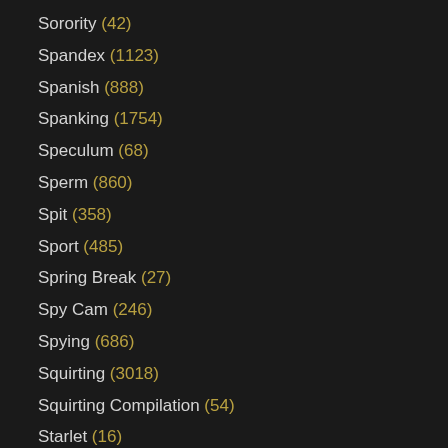Sorority (42)
Spandex (1123)
Spanish (888)
Spanking (1754)
Speculum (68)
Sperm (860)
Spit (358)
Sport (485)
Spring Break (27)
Spy Cam (246)
Spying (686)
Squirting (3018)
Squirting Compilation (54)
Starlet (16)
Stewardess (38)